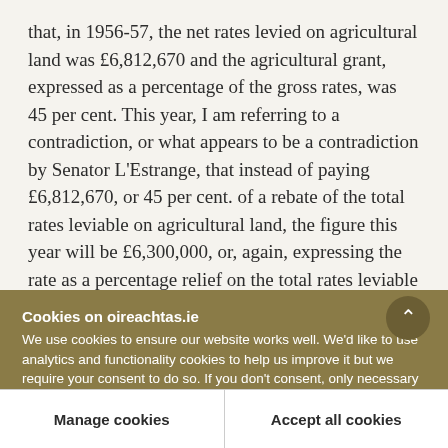that, in 1956-57, the net rates levied on agricultural land was £6,812,670 and the agricultural grant, expressed as a percentage of the gross rates, was 45 per cent. This year, I am referring to a contradiction, or what appears to be a contradiction by Senator L'Estrange, that instead of paying £6,812,670, or 45 per cent. of a rebate of the total rates leviable on agricultural land, the figure this year will be £6,300,000, or, again, expressing the rate as a percentage relief on the total rates leviable on
Cookies on oireachtas.ie
We use cookies to ensure our website works well. We'd like to use analytics and functionality cookies to help us improve it but we require your consent to do so. If you don't consent, only necessary cookies will be used. Read more about our cookies
Manage cookies
Accept all cookies